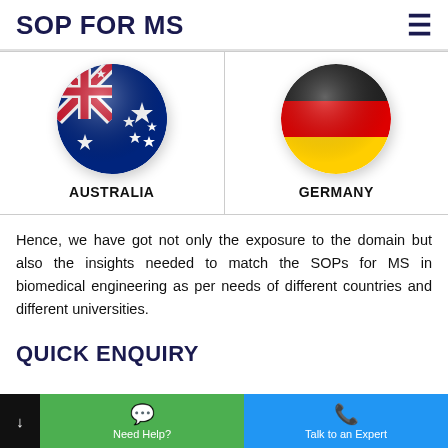SOP FOR MS
[Figure (illustration): Two circular flag icons side by side: Australian flag (blue with Union Jack and stars) labeled AUSTRALIA, and German flag (black, red, gold) labeled GERMANY]
Hence, we have got not only the exposure to the domain but also the insights needed to match the SOPs for MS in biomedical engineering as per needs of different countries and different universities.
QUICK ENQUIRY
Need Help?  |  Talk to an Expert